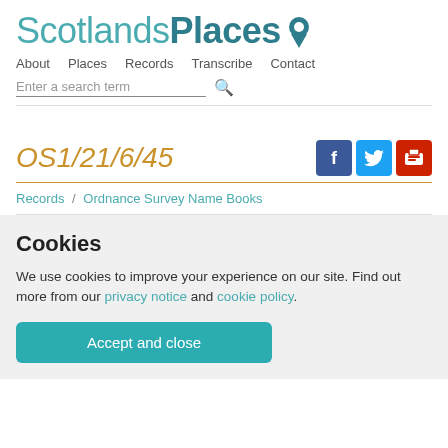ScotlandsPlaces
About   Places   Records   Transcribe   Contact
Enter a search term
OS1/21/6/45
Records / Ordnance Survey Name Books
Cookies
We use cookies to improve your experience on our site. Find out more from our privacy notice and cookie policy.
Accept and close